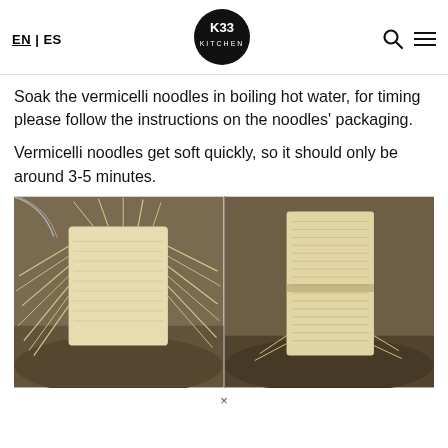EN | ES  [K33 KITCHEN logo]  [search] [menu]
Soak the vermicelli noodles in boiling hot water, for timing please follow the instructions on the noodles’ packaging.
Vermicelli noodles get soft quickly, so it should only be around 3-5 minutes.
[Figure (photo): Two side-by-side photos of vermicelli noodle bricks soaking in boiling hot water in a dark bowl. Left photo shows noodles partially splayed and spreading out; right photo shows noodles more compacted as a rectangular brick.]
x